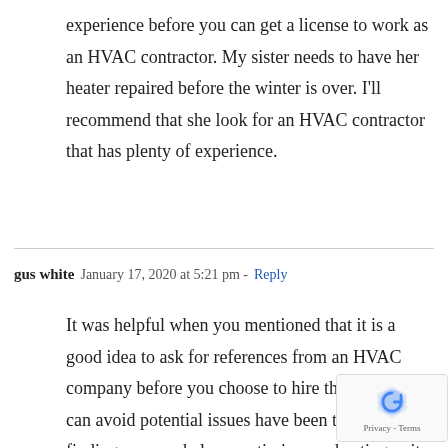experience before you can get a license to work as an HVAC contractor. My sister needs to have her heater repaired before the winter is over. I'll recommend that she look for an HVAC contractor that has plenty of experience.
gus white  January 17, 2020 at 5:21 pm - Reply
It was helpful when you mentioned that it is a good idea to ask for references from an HVAC company before you choose to hire them, so you can avoid potential issues have been talking about finding someone help us optimize our heating unit, so it can